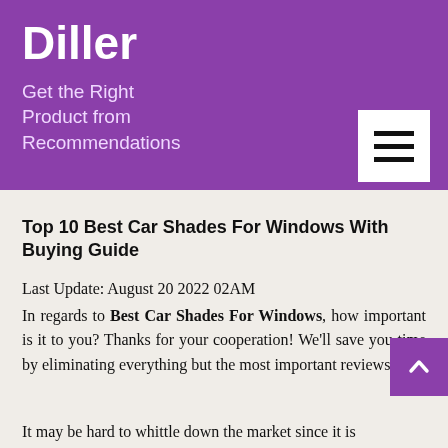Diller
Get the Right Product from Recommendations
[Figure (other): Hamburger menu button (three horizontal lines) on white background in upper right of purple header]
Top 10 Best Car Shades For Windows With Buying Guide
Last Update: August 20 2022 02AM
In regards to Best Car Shades For Windows, how important is it to you? Thanks for your cooperation! We'll save you time by eliminating everything but the most important reviews.
It may be hard to whittle down the market since it is